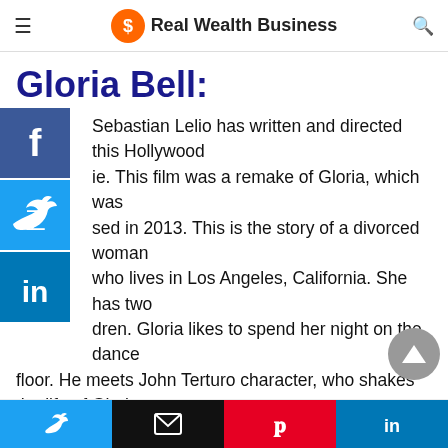Real Wealth Business
Gloria Bell:
Sebastian Lelio has written and directed this Hollywood movie. This film was a remake of Gloria, which was released in 2013. This is the story of a divorced woman who lives in Los Angeles, California. She has two children. Gloria likes to spend her night on the dance floor. He meets John Terturo character, who shakes the life of Gloria.
Photograph:
One photo was from an interesting movie. If you think
Share buttons: Twitter, Email, Pinterest, LinkedIn